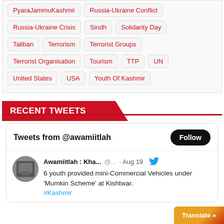PyaraJammuKashmir
Russia-Ukraine Conflict
Russia-Ukraine Crisis
Sindh
Solidarity Day
Taliban
Terrorism
Terrorist Groups
Terrorist Organisation
Tourism
TTP
UN
United States
USA
Youth Of Kashmir
RECENT TWEETS
Tweets from @awamiitlah Follow
Awamiitlah : Kha... @... · Aug 19 6 youth provided mini-Commercial Vehicles under 'Mumkin Scheme' at Kishtwar. #Kashmir